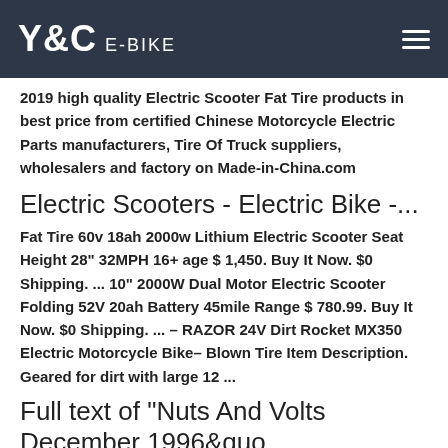Y&C E-BIKE
2019 high quality Electric Scooter Fat Tire products in best price from certified Chinese Motorcycle Electric Parts manufacturers, Tire Of Truck suppliers, wholesalers and factory on Made-in-China.com
Electric Scooters - Electric Bike -...
Fat Tire 60v 18ah 2000w Lithium Electric Scooter Seat Height 28" 32MPH 16+ age $ 1,450. Buy It Now. $0 Shipping. ... 10" 2000W Dual Motor Electric Scooter Folding 52V 20ah Battery 45mile Range $ 780.99. Buy It Now. $0 Shipping. ... – RAZOR 24V Dirt Rocket MX350 Electric Motorcycle Bike– Blown Tire Item Description. Geared for dirt with large 12 ...
Full text of "Nuts And Volts December 1996&quo...
This banner text can have markup.. web; books; video; audio; software; images; Toggle navigation